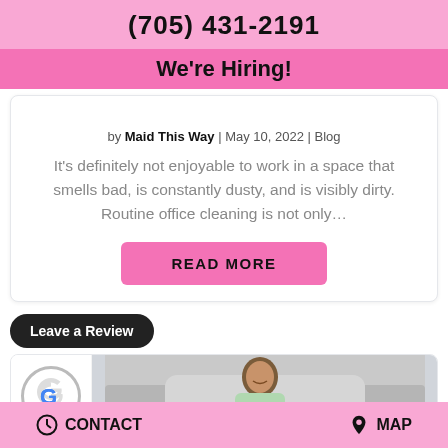(705) 431-2191
We're Hiring!
by Maid This Way | May 10, 2022 | Blog
It's definitely not enjoyable to work in a space that smells bad, is constantly dusty, and is visibly dirty. Routine office cleaning is not only...
READ MORE
Leave a Review
[Figure (photo): Google logo circle and photo of a smiling woman near a gray couch]
CONTACT   MAP